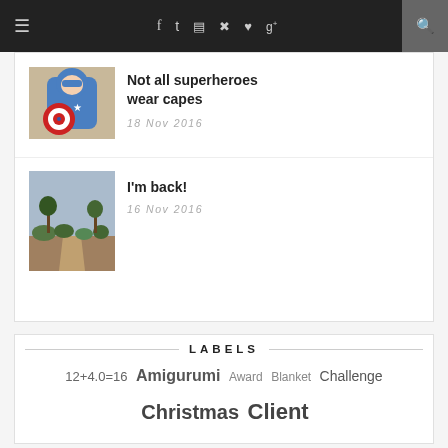≡  f  t  ☷  ℗  ♥  g+  🔍
[Figure (photo): Crocheted Captain America amigurumi toy with blue body and red/white shield]
Not all superheroes wear capes
18 Nov 2016
[Figure (photo): Landscape photo with dry scrubland and trees against a grey sky]
I'm back!
16 Nov 2016
LABELS
12+4.0=16  Amigurumi  Award  Blanket  Challenge  Christmas  Client Order  Clothes  Collaboration  Contest  Craft Fair  DIY  Easter  Family  Free